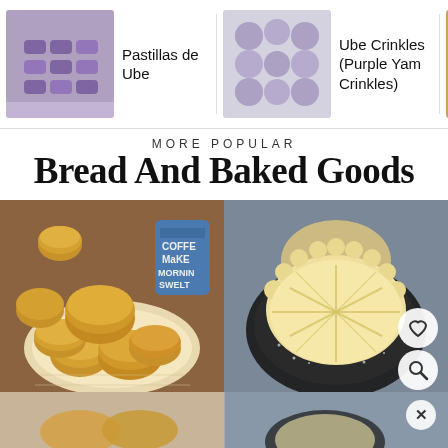[Figure (screenshot): Horizontal carousel of Filipino food items: Pastillas de Ube (purple candy), Ube Crinkles (Purple Yam Crinkles), and Panderal with thumbnail photos and a right-arrow navigation icon]
MORE POPULAR
Bread And Baked Goods
[Figure (photo): Basket of round golden-brown muffins/cornbread on parchment paper with a coffee mug in the background]
[Figure (photo): Close-up of a round pastry (queso de bola or similar) with scalloped edges on a dark plate, with a heart icon and search icon overlay]
[Figure (photo): Bottom strip showing partially visible food photos with an X close button]